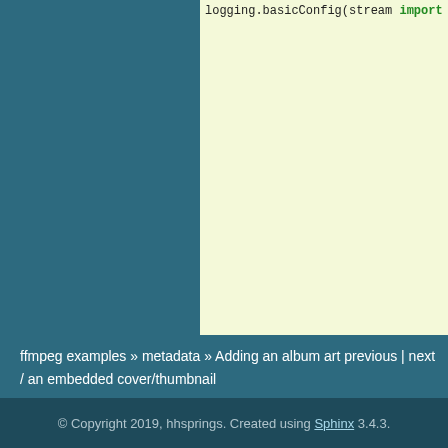[Figure (screenshot): Python code block on light yellow-green background showing argparse argument parsing code. Code includes: logging.basicConfig(stream...), import argparse, ap = argparse.ArgumentParser(), ap.add_argument calls for video, --shape, --quiet, --add_emb, args = ap.parse_args(), ffkwarg = {}, if re.match(r"[\[(]?\d+,\d..."), shape = eval(args.shap...), else:, ap.error("invalid shap..."), if args.quiet:, ffkwarg.update(dict(st...), for video in args.video:, thmbimgfn = _mk_thumbs..., if args.add_embeded_co..., _add_embeded_cover...]
ffmpeg examples » metadata » Adding an album art previous | next / an embedded cover/thumbnail
© Copyright 2019, hhsprings. Created using Sphinx 3.4.3.